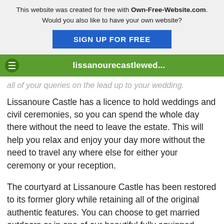This website was created for free with Own-Free-Website.com. Would you also like to have your own website? SIGN UP FOR FREE
lissanourecastlewed...
all of your queries on the lead up to your wedding.
Lissanoure Castle has a licence to hold weddings and civil ceremonies, so you can spend the whole day there without the need to leave the estate. This will help you relax and enjoy your day more without the need to travel any where else for either your ceremony or your reception.
The courtyard at Lissanoure Castle has been restored to its former glory while retaining all of the original authentic features. You can choose to get married outdoors or in one of our beautiful fully equipped function rooms like our amazing Castle Barn or the McCartney room.